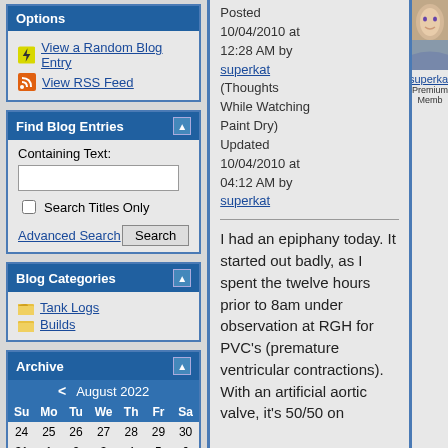Options
View a Random Blog Entry
View RSS Feed
Find Blog Entries
Containing Text:
Search Titles Only
Advanced Search | Search
Blog Categories
Tank Logs
Builds
Archive
| Su | Mo | Tu | We | Th | Fr | Sa |
| --- | --- | --- | --- | --- | --- | --- |
| 24 | 25 | 26 | 27 | 28 | 29 | 30 |
| 31 | 1 | 2 | 3 | 4 | 5 | 6 |
| 7 | 8 | 9 | 10 | 11 | 12 | 13 |
| 14 | 15 | 16 | 17 | 18 | 19 | 20 |
Posted 10/04/2010 at 12:28 AM by superkat (Thoughts While Watching Paint Dry) Updated 10/04/2010 at 04:12 AM by superkat
I had an epiphany today. It started out badly, as I spent the twelve hours prior to 8am under observation at RGH for PVC's (premature ventricular contractions). With an artificial aortic valve, it's 50/50 on
superkat
Premium Memb